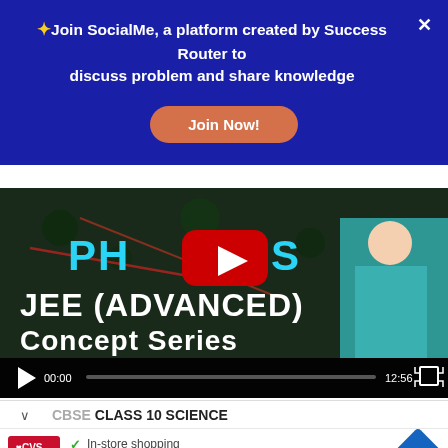✨ Join SocialMe, a platform created by Success Router to discuss problem and share knowledge
Join Now!
[Figure (screenshot): YouTube-style video player showing a Physics JEE (ADVANCED) Concept Series video thumbnail with a person in a teal shirt visible on the right side. Video controls show 00:00 / 12:56 with a progress bar.]
CBSE CLASS 10 SCIENCE
[Figure (photo): Advertisement banner for CVS Pharmacy showing the CVS logo, checkmarks for In-store shopping, Drive-through, and Delivery, with a navigation icon on the right.]